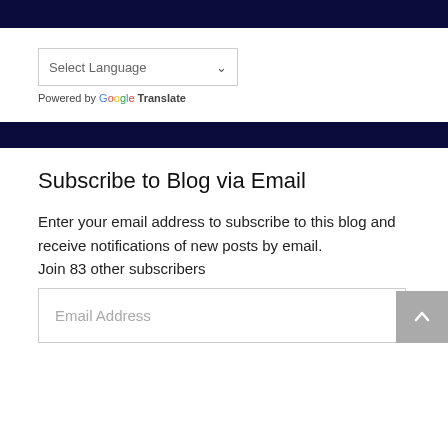[Figure (screenshot): Google Translate language selector widget with 'Select Language' dropdown and 'Powered by Google Translate' label]
Subscribe to Blog via Email
Enter your email address to subscribe to this blog and receive notifications of new posts by email.
Join 83 other subscribers
[Figure (screenshot): Email Address input text field]